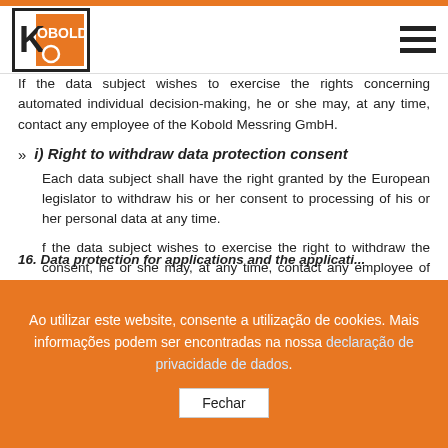KOBOLD [logo]
If the data subject wishes to exercise the rights concerning automated individual decision-making, he or she may, at any time, contact any employee of the Kobold Messring GmbH.
i) Right to withdraw data protection consent
Each data subject shall have the right granted by the European legislator to withdraw his or her consent to processing of his or her personal data at any time.
f the data subject wishes to exercise the right to withdraw the consent, he or she may, at any time, contact any employee of the Kobold Messring GmbH.
Ao utilizar este website, consente a utilização de cookies. Mais informações podem ser encontradas na nossa declaração de privacidade de dados.